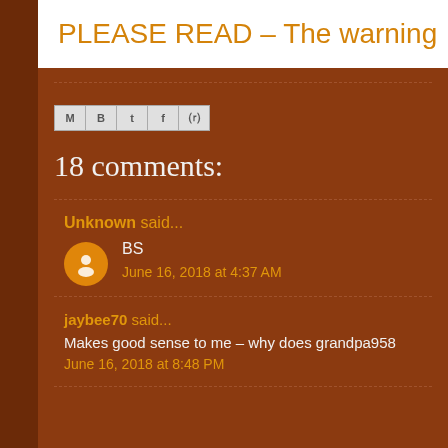PLEASE READ – The warning
[Figure (other): Social share buttons: M, B, T, F, P icons in a button group]
18 comments:
Unknown said...
BS
June 16, 2018 at 4:37 AM
jaybee70 said...
Makes good sense to me – why does grandpa958
June 16, 2018 at 8:48 PM